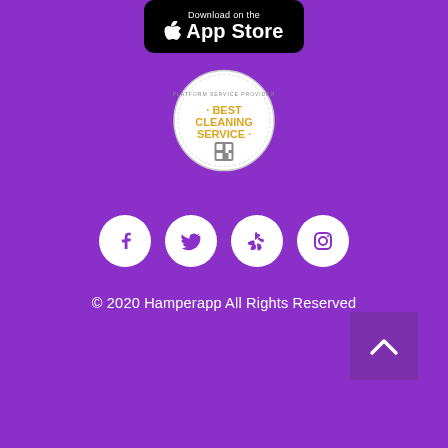[Figure (logo): Download on the App Store badge (black rounded rectangle with Apple logo and 'Download on the App Store' text)]
[Figure (logo): Best Cleaning Service award seal/badge with gold text on white circular stamp design]
[Figure (infographic): Row of four white social media icon circles on purple background: Facebook, Twitter, Yelp, Instagram]
© 2020 Hamperapp All Rights Reserved
[Figure (other): Back to top button — semi-transparent purple square with upward chevron arrow]